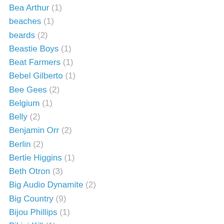Bea Arthur (1)
beaches (1)
beards (2)
Beastie Boys (1)
Beat Farmers (1)
Bebel Gilberto (1)
Bee Gees (2)
Belgium (1)
Belly (2)
Benjamin Orr (2)
Berlin (2)
Bertie Higgins (1)
Beth Otron (3)
Big Audio Dynamite (2)
Big Country (9)
Bijou Phillips (1)
Bikini Kill (1)
Bill Conti (1)
Bill Hicks (1)
Billboard (magazine) (21)